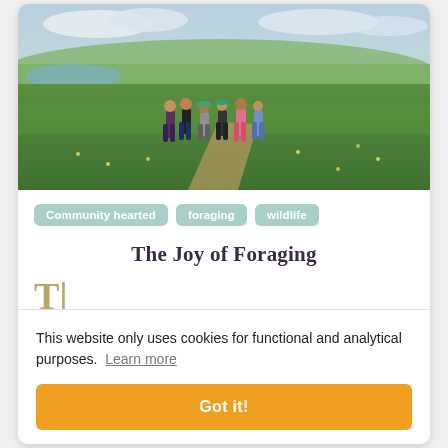[Figure (photo): Group of people walking on a grassy hillside path with a lake and landscape visible in the background under a partly cloudy sky]
Community hearted
foraging
wildlife
The Joy of Foraging
Tl
a
—
This website only uses cookies for functional and analytical purposes.  Learn more
Got it!